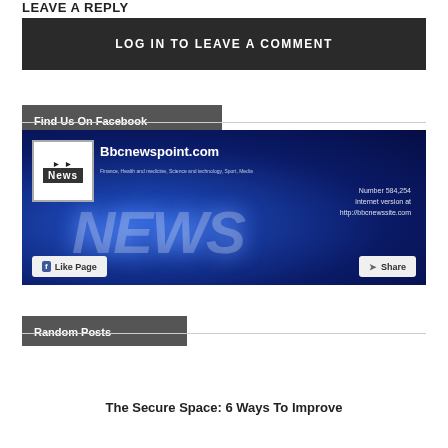LEAVE A REPLY
LOG IN TO LEAVE A COMMENT
Find Us On Facebook
[Figure (screenshot): Facebook page widget for Bbcnewspoint.com showing a news-themed banner with 'News' logo box, site name, blue NEWS background, Like Page and Share buttons]
Random Posts
The Secure Space: 6 Ways To Improve